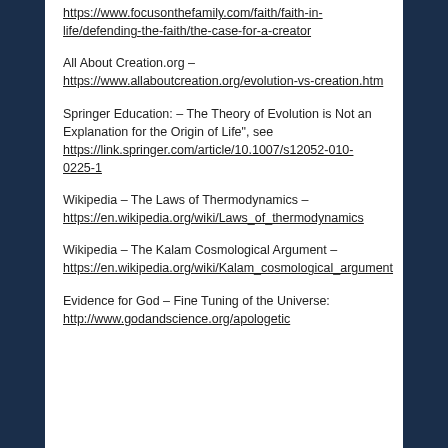https://www.focusonthefamily.com/faith/faith-in-life/defending-the-faith/the-case-for-a-creator
All About Creation.org – https://www.allaboutcreation.org/evolution-vs-creation.htm
Springer Education: – The Theory of Evolution is Not an Explanation for the Origin of Life", see https://link.springer.com/article/10.1007/s12052-010-0225-1
Wikipedia – The Laws of Thermodynamics – https://en.wikipedia.org/wiki/Laws_of_thermodynamics
Wikipedia – The Kalam Cosmological Argument – https://en.wikipedia.org/wiki/Kalam_cosmological_argument
Evidence for God – Fine Tuning of the Universe: http://www.godandscience.org/apologetic